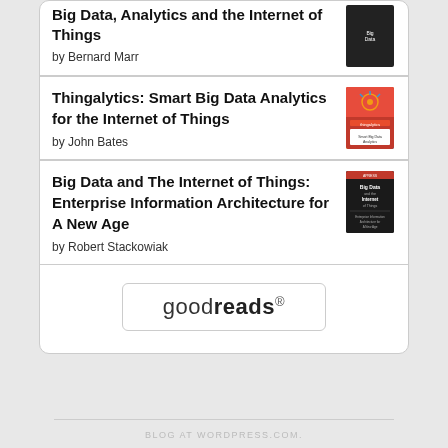Big Data, Analytics and the Internet of Things
by Bernard Marr
Thingalytics: Smart Big Data Analytics for the Internet of Things
by John Bates
Big Data and The Internet of Things: Enterprise Information Architecture for A New Age
by Robert Stackowiak
[Figure (logo): Goodreads logo button with rounded rectangle border]
BLOG AT WORDPRESS.COM.